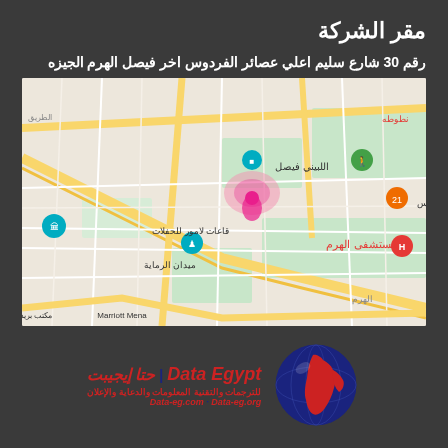مقر الشركة
رقم 30 شارع سليم اعلي عصائر الفردوس اخر فيصل الهرم الجيزه
[Figure (map): Google Maps view showing the area around Al Haram, Giza, Egypt. Visible landmarks include مستشفى الهرم (Al Haram Hospital), قاعات لامور للحفلات, ميدان الرماية, اللبيني فيصل, Marriott Mena, العريس, نطوطه. Major roads including الهرم and الطريق are visible.]
[Figure (logo): Data Egypt logo with globe graphic showing Africa and Middle East in red. Text reads: Data Egypt | حتا إيجيبت, with Arabic subtitle للترجمات والتقنية المعلومات والدعاية والإعلان, and website URLs.]